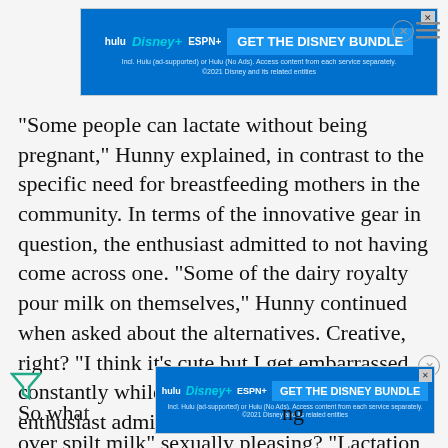[Figure (other): Disney Bundle advertisement banner (top) with Hulu, Disney+, ESPN+ logos and 'GET THE DISNEY BUNDLE' button]
“Some people can lactate without being pregnant,” Hunny explained, in contrast to the specific need for breastfeeding mothers in the community. In terms of the innovative gear in question, the enthusiast admitted to not having come across one. “Some of the dairy royalty pour milk on themselves,” Hunny continued when asked about the alternatives. Creative, right? “I think it’s cute but I get embarrassed constantly while filming though,” the enthusiast admitted.
[Figure (other): Disney Bundle advertisement banner (bottom) with Hulu, Disney+, ESPN+ logos and 'GET THE DISNEY BUNDLE' button]
So wha…ng over spilt milk” sexually pleasing? “Lactation leads